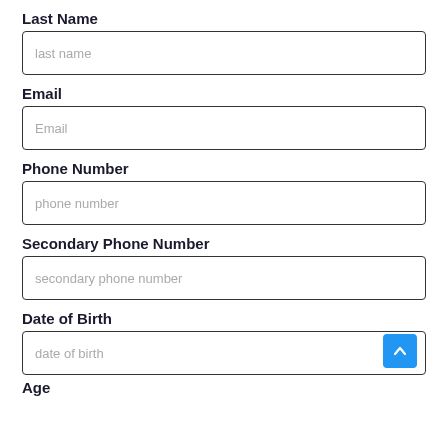Last Name
last name
Email
Email
Phone Number
phone number
Secondary Phone Number
secondary phone number
Date of Birth
date of birth
Age